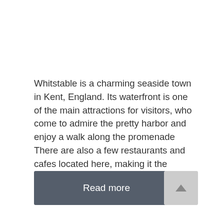Whitstable is a charming seaside town in Kent, England. Its waterfront is one of the main attractions for visitors, who come to admire the pretty harbor and enjoy a walk along the promenade There are also a few restaurants and cafes located here, making it the perfect spot to relax on a weekend afternoon. If …
Read more